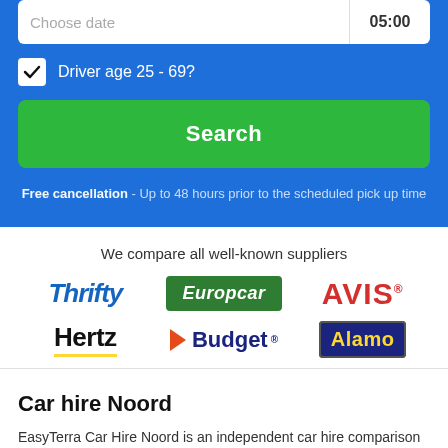Choose date | 05:00
Driver age 25 - 69?
Search
Free cancellation - Up to 48 hours prior to the scheduled pick up time
We compare all well-known suppliers
[Figure (logo): Thrifty car rental logo]
[Figure (logo): Europcar logo]
[Figure (logo): AVIS logo]
[Figure (logo): Hertz logo]
[Figure (logo): Budget logo]
[Figure (logo): Alamo logo]
Car hire Noord
EasyTerra Car Hire Noord is an independent car hire comparison site. Our system compares prices from well-known car hire